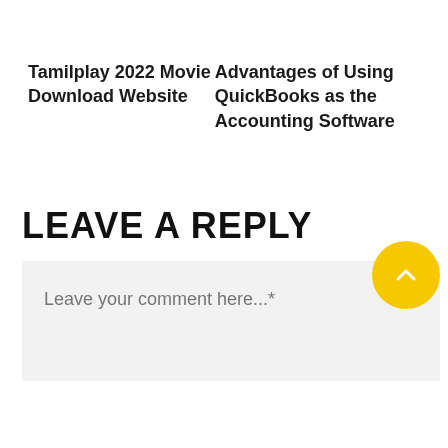Tamilplay 2022 Movie Download Website
Advantages of Using QuickBooks as the Accounting Software
LEAVE A REPLY
Leave your comment here...*